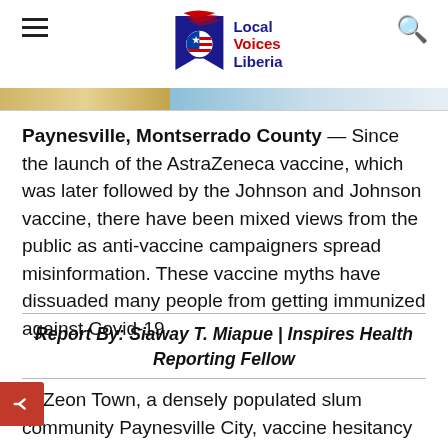Local Voices Liberia
Paynesville, Montserrado County — Since the launch of the AstraZeneca vaccine, which was later followed by the Johnson and Johnson vaccine, there have been mixed views from the public as anti-vaccine campaigners spread misinformation. These vaccine myths have dissuaded many people from getting immunized against Covid-19.
Report By: Siaway T. Miapue | Inspires Health Reporting Fellow
In Zeon Town, a densely populated slum community Paynesville City, vaccine hesitancy appears to be